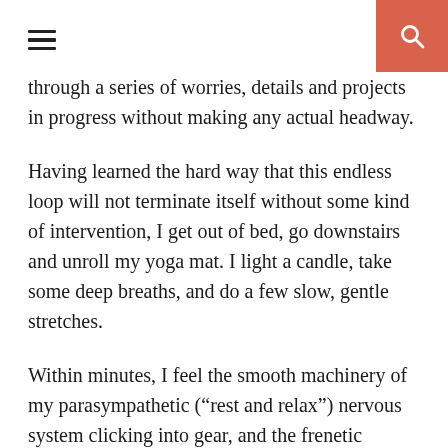[hamburger menu] [search button]
through a series of worries, details and projects in progress without making any actual headway.
Having learned the hard way that this endless loop will not terminate itself without some kind of intervention, I get out of bed, go downstairs and unroll my yoga mat. I light a candle, take some deep breaths, and do a few slow, gentle stretches.
Within minutes, I feel the smooth machinery of my parasympathetic (“rest and relax”) nervous system clicking into gear, and the frenetic jittering of my sympathetic (“fight or flight”) nervous